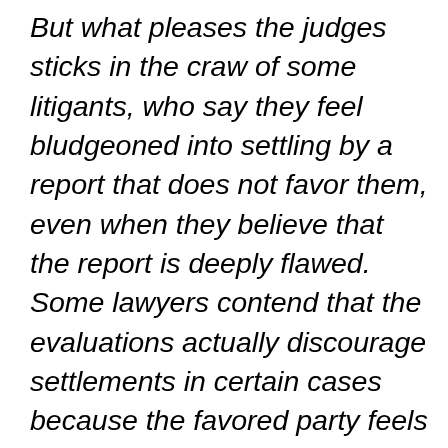But what pleases the judges sticks in the craw of some litigants, who say they feel bludgeoned into settling by a report that does not favor them, even when they believe that the report is deeply flawed. Some lawyers contend that the evaluations actually discourage settlements in certain cases because the favored party feels no need to compromise. The only way to challenge a forensic report is to go through a full trial and then cross-examine the evaluator; parties can also hire their own